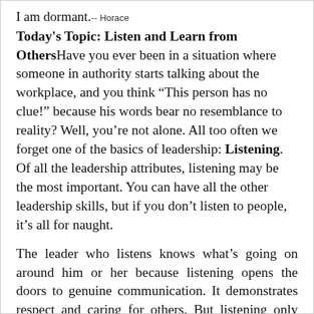I am dormant.-- Horace
Today's Topic: Listen and Learn from Others
Have you ever been in a situation where someone in authority starts talking about the workplace, and you think “This person has no clue!” because his words bear no resemblance to reality? Well, you’re not alone. All too often we forget one of the basics of leadership: Listening. Of all the leadership attributes, listening may be the most important. You can have all the other leadership skills, but if you don’t listen to people, it’s all for naught.
The leader who listens knows what’s going on around him or her because listening opens the doors to genuine communication. It demonstrates respect and caring for others. But listening only gets you part way to better leadership. You must also learn from it and use that learning to guide your actions. It’s only through learning that we are able to change, grow, and prepare for the future. Listening and learning help make a leader credible because they compel the leader to put people first. And that’s when really good things can happen.
Here are three tips to help you be a better listener